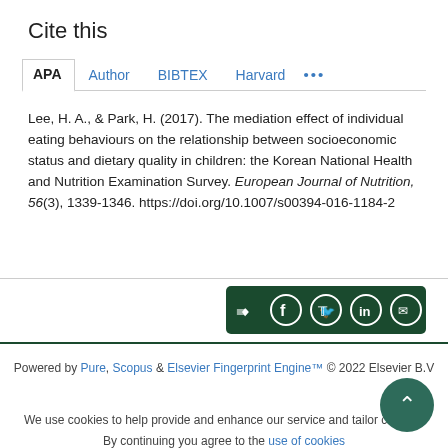Cite this
APA | Author | BIBTEX | Harvard | ...
Lee, H. A., & Park, H. (2017). The mediation effect of individual eating behaviours on the relationship between socioeconomic status and dietary quality in children: the Korean National Health and Nutrition Examination Survey. European Journal of Nutrition, 56(3), 1339-1346. https://doi.org/10.1007/s00394-016-1184-2
[Figure (other): Share icons bar with share, Facebook, Twitter, LinkedIn, and email icons on dark green background]
Powered by Pure, Scopus & Elsevier Fingerprint Engine™ © 2022 Elsevier B.V
We use cookies to help provide and enhance our service and tailor content. By continuing you agree to the use of cookies